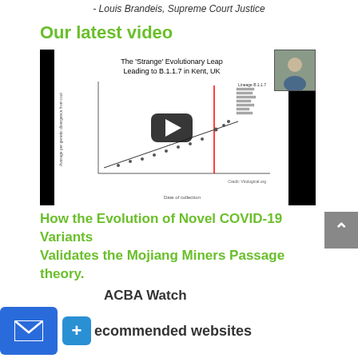- Louis Brandeis, Supreme Court Justice
Our latest video
[Figure (screenshot): Video thumbnail showing a scatter plot titled 'The Strange Evolutionary Leap Leading to B.1.1.7 in Kent, UK' with a YouTube play button overlay and a person in the top right corner]
How the Evolution of Novel COVID-19 Variants Validates the Mojiang Miners Passage theory.
Recommended websites
ACBA Watch